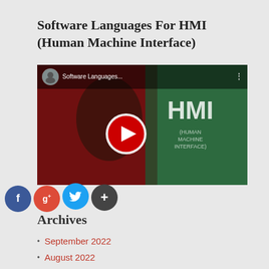Software Languages For HMI (Human Machine Interface)
[Figure (screenshot): YouTube video thumbnail for 'Software Languages...' showing a person with HMI text, with a red play button overlay. Avatar icon and video title in top bar.]
Archives
September 2022
August 2022
July 2022
June 2022